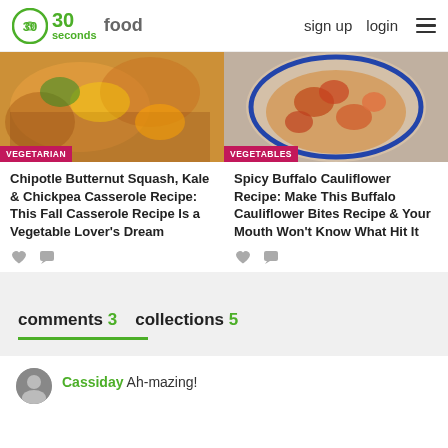30 seconds food | sign up | login
[Figure (photo): Two food recipe card images side by side: left shows Chipotle Butternut Squash Kale & Chickpea Casserole with VEGETARIAN badge; right shows Spicy Buffalo Cauliflower with VEGETABLES badge]
Chipotle Butternut Squash, Kale & Chickpea Casserole Recipe: This Fall Casserole Recipe Is a Vegetable Lover's Dream
Spicy Buffalo Cauliflower Recipe: Make This Buffalo Cauliflower Bites Recipe & Your Mouth Won't Know What Hit It
comments 3   collections 5
Cassiday Ah-mazing!